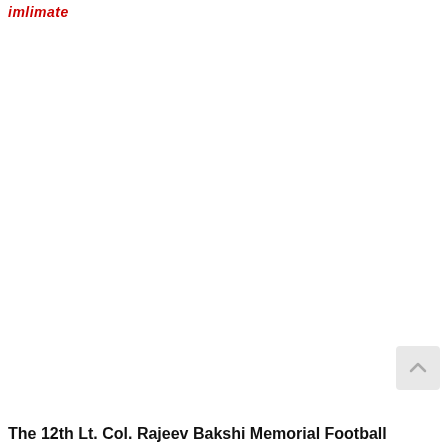imlimate
The 12th Lt. Col. Rajeev Bakshi Memorial Football